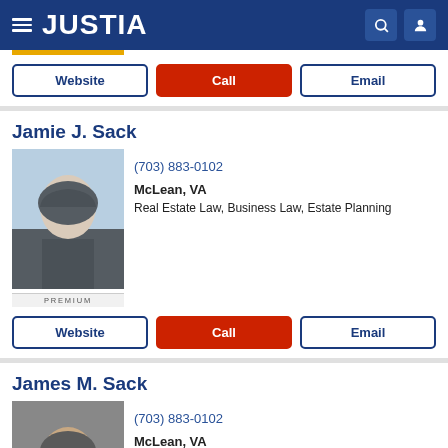JUSTIA
Website | Call | Email
Jamie J. Sack
(703) 883-0102
McLean, VA
Real Estate Law, Business Law, Estate Planning
Website | Call | Email
James M. Sack
(703) 883-0102
McLean, VA
Business Law, Estate Planning, Probate, Real E…